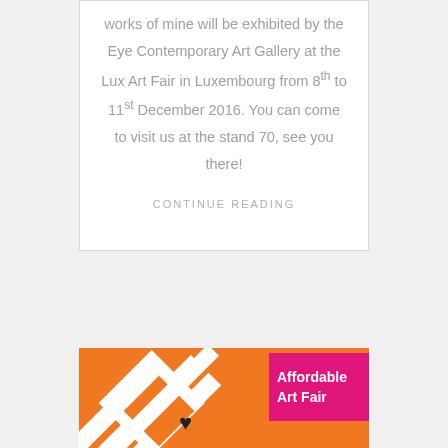works of mine will be exhibited by the Eye Contemporary Art Gallery at the Lux Art Fair in Luxembourg from 8th to 11st December 2016. You can come to visit us at the stand 70, see you there!
CONTINUE READING
[Figure (illustration): Affordable Art Fair promotional banner with orange background, white diagonal geometric shapes, a black heart symbol, and a magenta/pink badge with white text reading 'Affordable Art Fair']